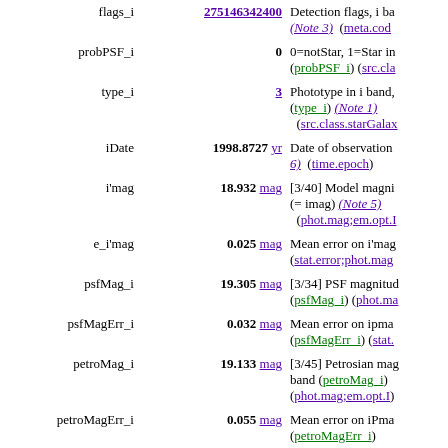| Field | Value | Description |
| --- | --- | --- |
| flags_i | 275146342400 | Detection flags, i band (Note 3) (meta.code) |
| probPSF_i | 0 | 0=notStar, 1=Star in i band (probPSF_i) (src.class...) |
| type_i | 3 | Phototype in i band, (type_i) (Note 1) (src.class.starGalaxy) |
| iDate | 1998.8727 yr | Date of observation (Note 6) (time.epoch) |
| i'mag | 18.932 mag | [3/40] Model magnitude in i filter (= imag) (Note 5) (phot.mag;em.opt.I) |
| e_i'mag | 0.025 mag | Mean error on i'mag (stat.error;phot.mag) |
| psfMag_i | 19.305 mag | [3/34] PSF magnitude in i band (psfMag_i) (phot.mag...) |
| psfMagErr_i | 0.032 mag | Mean error on ipmag (psfMagErr_i) (stat...) |
| petroMag_i | 19.133 mag | [3/45] Petrosian magnitude in i band (petroMag_i) (phot.mag;em.opt.I) |
| petroMagErr_i | 0.055 mag | Mean error on iPmag (petroMagErr_i) |